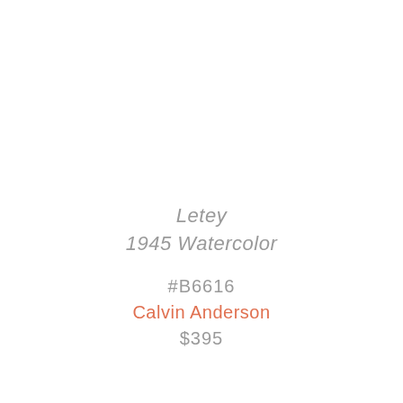Letey
1945 Watercolor
#B6616
Calvin Anderson
$395